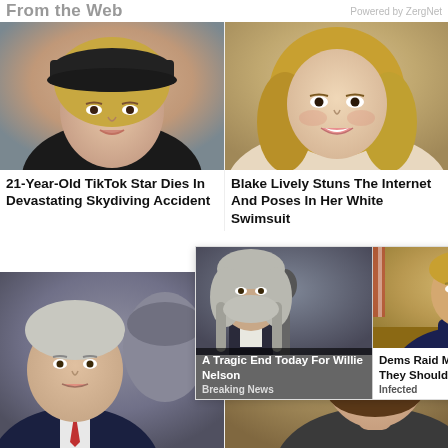From the Web    Powered by ZergNet
[Figure (photo): Young woman with blonde hair wearing a dark cap, selfie style photo]
[Figure (photo): Blonde woman smiling, Blake Lively style celebrity photo]
21-Year-Old TikTok Star Dies In Devastating Skydiving Accident
Blake Lively Stuns The Internet And Poses In Her White Swimsuit
[Figure (photo): Older man in suit, political figure, with another figure behind him]
[Figure (photo): Man with beard wearing a cap, smiling]
[Figure (photo): Ad overlay: older man at microphone Willie Nelson ad]
A Tragic End Today For Willie Nelson
Breaking News
[Figure (photo): Ad overlay: man at desk in formal setting, political figure]
Dems Raid Mar-A-Lago when They Should b...
Infected